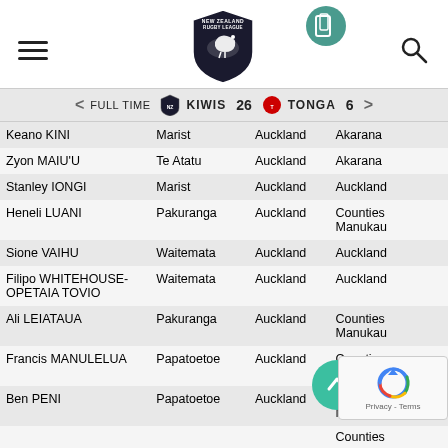New Zealand Rugby League website header with navigation hamburger menu, NZRL logo (kiwi shield), and search icon
FULL TIME   KIWIS 26   TONGA 6
| Player | Club | City | Region |
| --- | --- | --- | --- |
| Keano KINI | Marist | Auckland | Akarana |
| Zyon MAIU'U | Te Atatu | Auckland | Akarana |
| Stanley IONGI | Marist | Auckland | Auckland |
| Heneli LUANI | Pakuranga | Auckland | Counties Manukau |
| Sione VAIHU | Waitemata | Auckland | Auckland |
| Filipo WHITEHOUSE-OPETAIA TOVIO | Waitemata | Auckland | Auckland |
| Ali LEIATAUA | Pakuranga | Auckland | Counties Manukau |
| Francis MANULELUA | Papatoetoe | Auckland | Counties Manukau |
| Ben PENI | Papatoetoe | Auckland | Counties Manukau |
| ... | ... | Auckland | Counties |